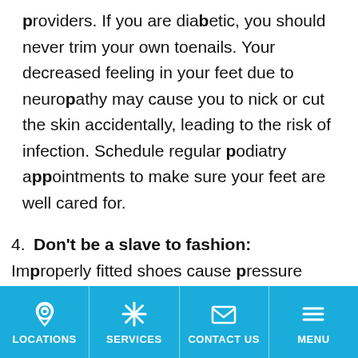providers. If you are diabetic, you should never trim your own toenails. Your decreased feeling in your feet due to neuropathy may cause you to nick or cut the skin accidentally, leading to the risk of infection. Schedule regular podiatry appointments to make sure your feet are well cared for.
4. Don't be a slave to fashion: Improperly fitted shoes cause pressure areas on the feet that may not felt by the patient due to diabetic neuropathy or decreased sensation.
LOCATIONS | SERVICES | CONTACT US | MENU